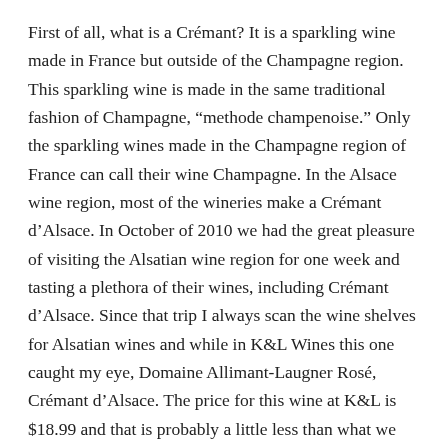First of all, what is a Crémant? It is a sparkling wine made in France but outside of the Champagne region. This sparkling wine is made in the same traditional fashion of Champagne, “methode champenoise.” Only the sparkling wines made in the Champagne region of France can call their wine Champagne. In the Alsace wine region, most of the wineries make a Crémant d’Alsace. In October of 2010 we had the great pleasure of visiting the Alsatian wine region for one week and tasting a plethora of their wines, including Crémant d’Alsace. Since that trip I always scan the wine shelves for Alsatian wines and while in K&L Wines this one caught my eye, Domaine Allimant-Laugner Rosé, Crémant d’Alsace. The price for this wine at K&L is $18.99 and that is probably a little less than what we paid for the Crémants we sampled on our trip (14 – 16 Euros). It is amazing that in the case of some imported wines you pay less here than in the country of origin.